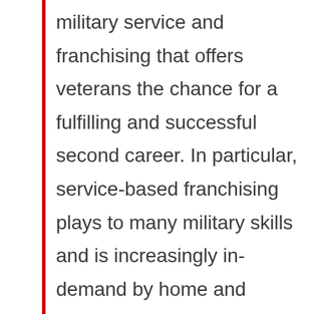military service and franchising that offers veterans the chance for a fulfilling and successful second career. In particular, service-based franchising plays to many military skills and is increasingly in-demand by home and business owners. In fact, according to a study by the